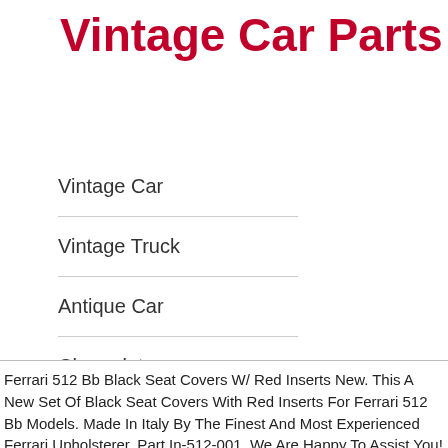Vintage Car Parts
Vintage Car
Vintage Truck
Antique Car
Chevrolet
Ford
Rolls Royce
Ferrari 512 Bb Black Seat Covers W/ Red Inserts New. This A New Set Of Black Seat Covers With Red Inserts For Ferrari 512 Bb Models. Made In Italy By The Finest And Most Experienced Ferrari Upholsterer. Part In-512-001. We Are Happy To Assist You! Prices Are Subject To Change Without Notice.